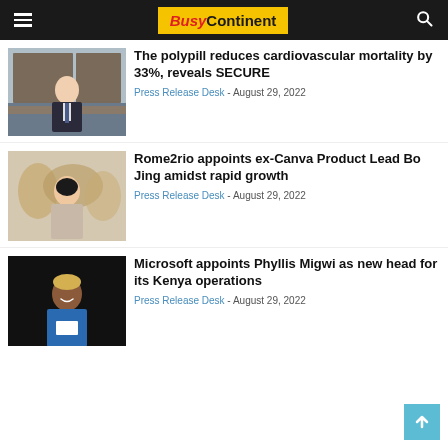BusyContinent
[Figure (photo): Photo of an older man in a suit sitting at a desk with bookshelves in background]
The polypill reduces cardiovascular mortality by 33%, reveals SECURE
Press Release Desk - August 29, 2022
[Figure (photo): Photo of a young Asian man standing in front of a world map]
Rome2rio appoints ex-Canva Product Lead Bo Jing amidst rapid growth
Press Release Desk - August 29, 2022
[Figure (photo): Photo of a Black woman with short blonde hair wearing a blue blazer, smiling, on dark background]
Microsoft appoints Phyllis Migwi as new head for its Kenya operations
Press Release Desk - August 29, 2022